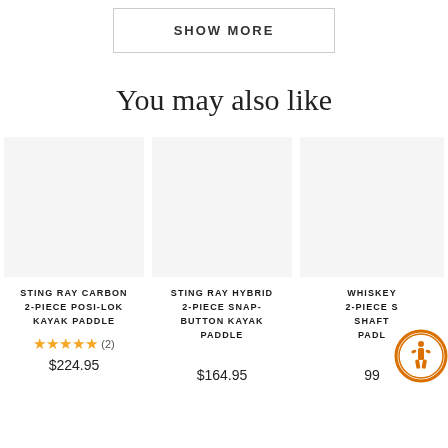SHOW MORE
You may also like
STING RAY CARBON 2-PIECE POSI-LOK KAYAK PADDLE
★★★★★ (2)
$224.95
STING RAY HYBRID 2-PIECE SNAP-BUTTON KAYAK PADDLE
$164.95
WHISKEY 2-PIECE S SHAFT PADL